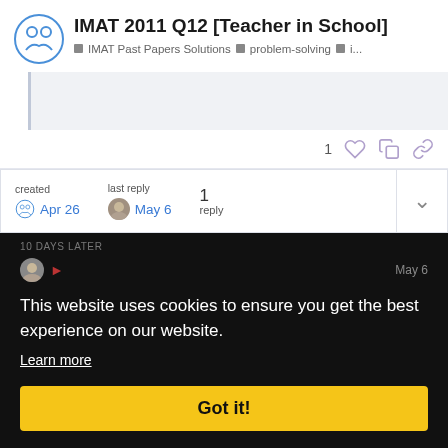IMAT 2011 Q12 [Teacher in School]
IMAT Past Papers Solutions  problem-solving  i...
created Apr 26   last reply May 6   1 reply
10 DAYS LATER
This website uses cookies to ensure you get the best experience on our website.
Learn more
Got it!
To answer this question, we must note down a few concepts, as we might need to use them.
We only have 12 months in a year
We only have a maximum number of 31 days in a month